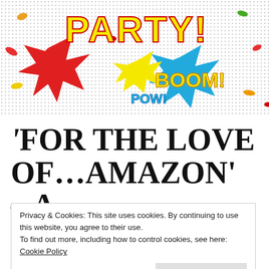[Figure (illustration): Comic book style party image with 'PARTY! BOOM! POW!' text in pop-art style with colorful jelly beans scattered around on a white background with dot pattern.]
‘FOR THE LOVE OF...AMAZON’ – A
Privacy & Cookies: This site uses cookies. By continuing to use this website, you agree to their use.
To find out more, including how to control cookies, see here: Cookie Policy
Close and accept